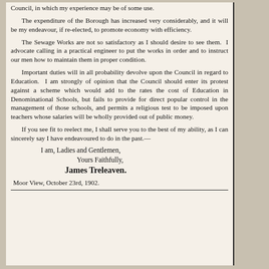Council, in which my experience may be of some use.
The expenditure of the Borough has increased very considerably, and it will be my endeavour, if re-elected, to promote economy with efficiency.
The Sewage Works are not so satisfactory as I should desire to see them. I advocate calling in a practical engineer to put the works in order and to instruct our men how to maintain them in proper condition.
Important duties will in all probability devolve upon the Council in regard to Education. I am strongly of opinion that the Council should enter its protest against a scheme which would add to the rates the cost of Education in Denominational Schools, but fails to provide for direct popular control in the management of those schools, and permits a religious test to be imposed upon teachers whose salaries will be wholly provided out of public money.
If you see fit to reelect me, I shall serve you to the best of my ability, as I can sincerely say I have endeavoured to do in the past.—
I am, Ladies and Gentlemen,
Yours Faithfully,
James Treleaven.
Moor View, October 23rd, 1902.